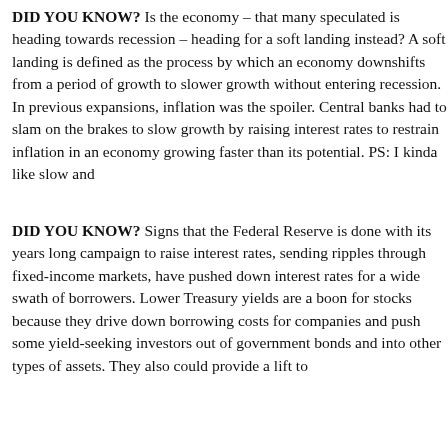DID YOU KNOW? Is the economy – that many speculated is heading towards recession – heading for a soft landing instead? A soft landing is defined as the process by which an economy downshifts from a period of growth to slower growth without entering recession. In previous expansions, inflation was the spoiler. Central banks had to slam on the brakes to slow growth by raising interest rates to restrain inflation in an economy growing faster than its potential. PS: I kinda like slow and...
DID YOU KNOW? Signs that the Federal Reserve is done with its years long campaign to raise interest rates, sending ripples through fixed-income markets, have pushed down interest rates for a wide swath of borrowers. Lower Treasury yields are a boon for stocks because they drive down borrowing costs for companies and push some yield-seeking investors out of government bonds and into other types of assets. They also could provide a lift to...